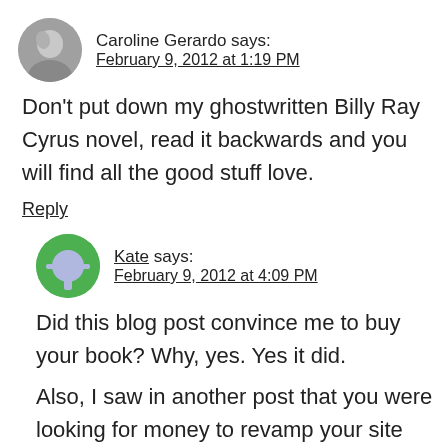Caroline Gerardo says:
February 9, 2012 at 1:19 PM
Don't put down my ghostwritten Billy Ray Cyrus novel, read it backwards and you will find all the good stuff love.
Reply
Kate says:
February 9, 2012 at 4:09 PM
Did this blog post convince me to buy your book? Why, yes. Yes it did.
Also, I saw in another post that you were looking for money to revamp your site and